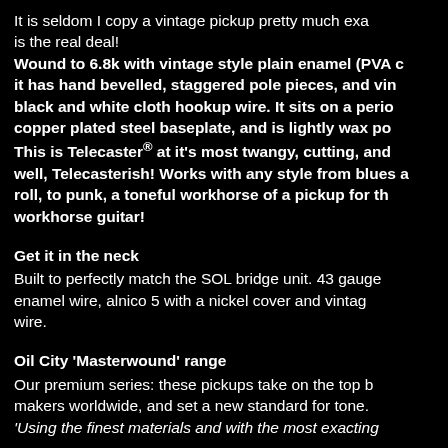It is seldom I copy a vintage pickup pretty much exa is the real deal! Wound to 6.8k with vintage style plain enamel (PVA c it has hand bevelled, staggered pole pieces, and vin black and white cloth hookup wire. It sits on a perio copper plated steel baseplate, and is lightly wax po This is Telecaster® at it's most twangy, cutting, and well, Telecasterish! Works with any style from blues a roll, to punk, a toneful workhorse of a pickup for th workhorse guitar!
Get it in the neck
Built to perfectly match the SOL bridge unit. 43 gauge enamel wire, alnico 5 with a nickel cover and vintag wire.
Oil City 'Masterwound' range
Our premium series: these pickups take on the top b makers worldwide, and set a new standard for tone. 'Using the finest materials and with the most exacting